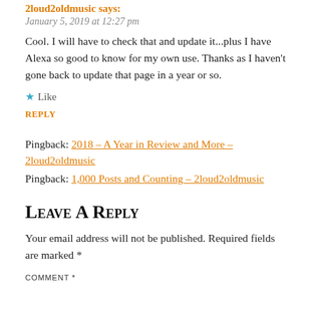2loud2oldmusic says:
January 5, 2019 at 12:27 pm
Cool. I will have to check that and update it...plus I have Alexa so good to know for my own use. Thanks as I haven't gone back to update that page in a year or so.
★ Like
REPLY
Pingback: 2018 – A Year in Review and More – 2loud2oldmusic
Pingback: 1,000 Posts and Counting – 2loud2oldmusic
Leave a Reply
Your email address will not be published. Required fields are marked *
COMMENT *